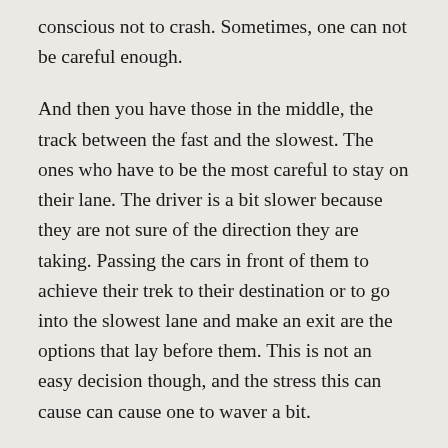conscious not to crash. Sometimes, one can not be careful enough.
And then you have those in the middle, the track between the fast and the slowest. The ones who have to be the most careful to stay on their lane. The driver is a bit slower because they are not sure of the direction they are taking. Passing the cars in front of them to achieve their trek to their destination or to go into the slowest lane and make an exit are the options that lay before them. This is not an easy decision though, and the stress this can cause can cause one to waver a bit.
And then there is the slowest lane. You'll find many different people in this lane. The ones who need to